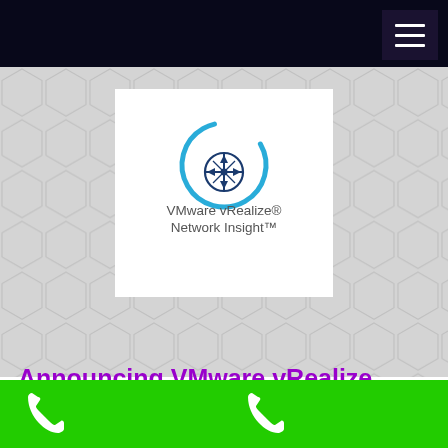[Figure (screenshot): Black top navigation bar with hamburger menu icon (three white horizontal lines) on dark background in top-right corner]
[Figure (logo): VMware vRealize Network Insight logo — circular cyan arc with compass/crosshair icon in dark blue, text reads 'VMware vRealize® Network Insight™' on white card background with hexagonal pattern surround]
Announcing VMware vRealize Network Insight 6.5 and Cloud
[Figure (infographic): Green footer bar with two white telephone/phone icons side by side]